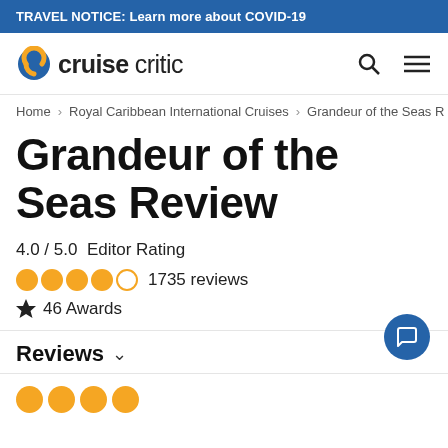TRAVEL NOTICE: Learn more about COVID-19
[Figure (logo): Cruise Critic logo with orange/blue circular C icon and text 'cruisecritic']
Home > Royal Caribbean International Cruises > Grandeur of the Seas R
Grandeur of the Seas Review
4.0 / 5.0  Editor Rating
4 filled orange circles, 1 empty circle  1735 reviews
🏆 46 Awards
Reviews ∨
[Figure (other): Row of orange filled circles at bottom (partial, 4 visible)]